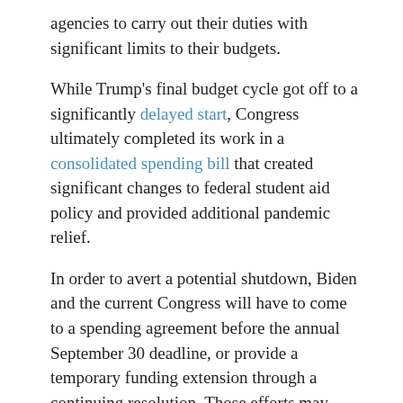agencies to carry out their duties with significant limits to their budgets.
While Trump's final budget cycle got off to a significantly delayed start, Congress ultimately completed its work in a consolidated spending bill that created significant changes to federal student aid policy and provided additional pandemic relief.
In order to avert a potential shutdown, Biden and the current Congress will have to come to a spending agreement before the annual September 30 deadline, or provide a temporary funding extension through a continuing resolution. Those efforts may now begin in earnest due to the Senate's recent confirmation of Shalanda Young as deputy director of OMB, a post that Biden's team suggested is integral to “expediting” the release of a fiscal year 2022 budget.